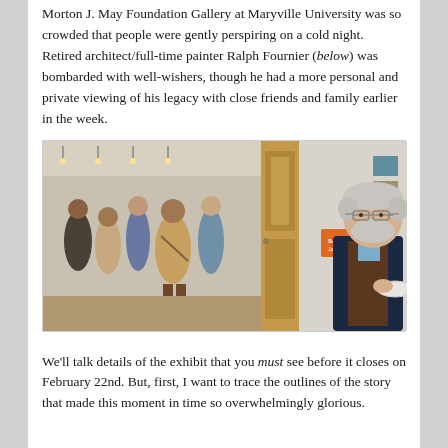Morton J. May Foundation Gallery at Maryville University was so crowded that people were gently perspiring on a cold night. Retired architect/full-time painter Ralph Fournier (below) was bombarded with well-wishers, though he had a more personal and private viewing of his legacy with close friends and family earlier in the week.
[Figure (photo): Photo of a crowded gallery opening event. On the left, groups of people are mingling in a gallery space with artwork on walls and track lighting. A wooden door divides the scene. On the right, an elderly man with white hair and beard, wearing a dark blazer over a brown sweater, holds a small plate. An orange sign is visible in the background.]
We'll talk details of the exhibit that you must see before it closes on February 22nd. But, first, I want to trace the outlines of the story that made this moment in time so overwhelmingly glorious.